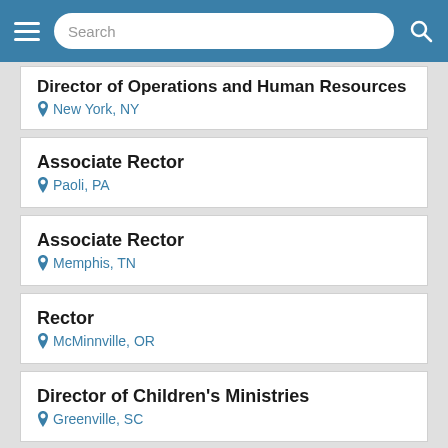Search
Director of Operations and Human Resources
New York, NY
Associate Rector
Paoli, PA
Associate Rector
Memphis, TN
Rector
McMinnville, OR
Director of Children's Ministries
Greenville, SC
Rector
Easley, SC